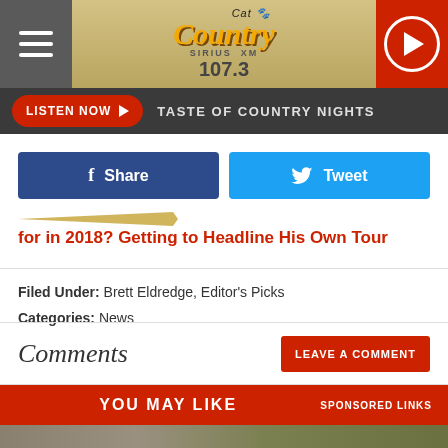Cat Country 107.3
LISTEN NOW ▶  TASTE OF COUNTRY NIGHTS
Share  Tweet
for in 2018? Getting to Headline His Own Tour
Filed Under: Brett Eldredge, Editor's Picks
Categories: News
Comments
LEAVE A COMMENT
YOU MAY LIKE  SPONSORED LINKS
[Figure (photo): Bottom image of outdoor scene]